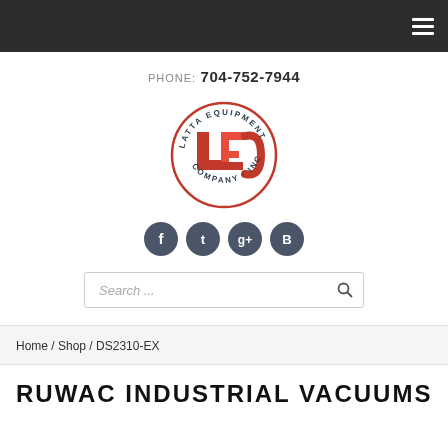Navigation bar with hamburger menu
PHONE: 704-752-7944
[Figure (logo): Latta Equipment Company Inc. circular logo with red LEC letters]
[Figure (infographic): Social media icons: Facebook, Twitter, Google+, Blogger]
Search ...
Home / Shop / DS2310-EX
RUWAC INDUSTRIAL VACUUMS